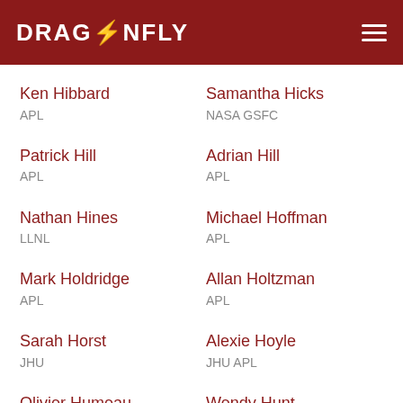DRAGONFLY
Ken Hibbard
APL
Samantha Hicks
NASA GSFC
Patrick Hill
APL
Adrian Hill
APL
Nathan Hines
LLNL
Michael Hoffman
APL
Mark Holdridge
APL
Allan Holtzman
APL
Sarah Horst
JHU
Alexie Hoyle
JHU APL
Olivier Humeau
Wendy Hunt